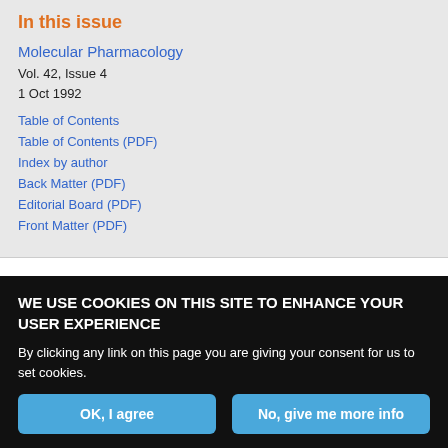In this issue
Molecular Pharmacology
Vol. 42, Issue 4
1 Oct 1992
Table of Contents
Table of Contents (PDF)
Index by author
Back Matter (PDF)
Editorial Board (PDF)
Front Matter (PDF)
Download PDF
Article Alerts
Share
Tweet
WE USE COOKIES ON THIS SITE TO ENHANCE YOUR USER EXPERIENCE
By clicking any link on this page you are giving your consent for us to set cookies.
OK, I agree
No, give me more info